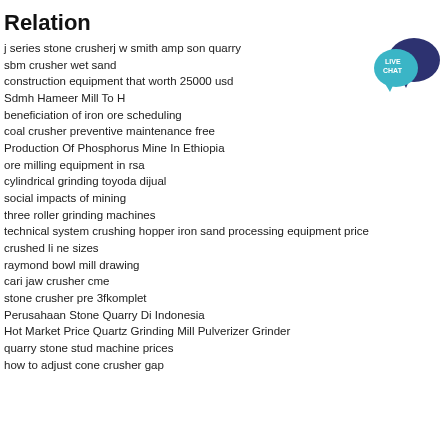Relation
j series stone crusherj w smith amp son quarry
sbm crusher wet sand
construction equipment that worth 25000 usd
Sdmh Hameer Mill To H
[Figure (illustration): Live chat speech bubble icon with teal and dark blue colors, text LIVE CHAT]
beneficiation of iron ore scheduling
coal crusher preventive maintenance free
Production Of Phosphorus Mine In Ethiopia
ore milling equipment in rsa
cylindrical grinding toyoda dijual
social impacts of mining
three roller grinding machines
technical system crushing hopper iron sand processing equipment price
crushed li ne sizes
raymond bowl mill drawing
cari jaw crusher cme
stone crusher pre 3fkomplet
Perusahaan Stone Quarry Di Indonesia
Hot Market Price Quartz Grinding Mill Pulverizer Grinder
quarry stone stud machine prices
how to adjust cone crusher gap